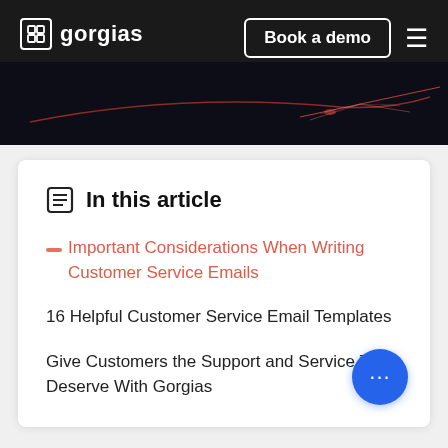gorgias  Book a demo
[Figure (screenshot): Dark hero image strip with glowing red/pink light streaks on dark background]
In this article
Important Considerations When Writing Customer Service Emails
16 Helpful Customer Service Email Templates
Give Customers the Support and Service They Deserve With Gorgias